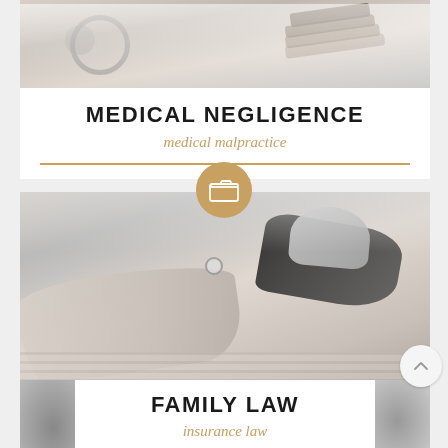[Figure (photo): Black and white photo of stethoscope and gavel at top of Medical Negligence card]
MEDICAL NEGLIGENCE
medical malpractice
[Figure (photo): Black and white photo of two hands exchanging a ring, representing Family Law / divorce]
FAMILY LAW
insurance law